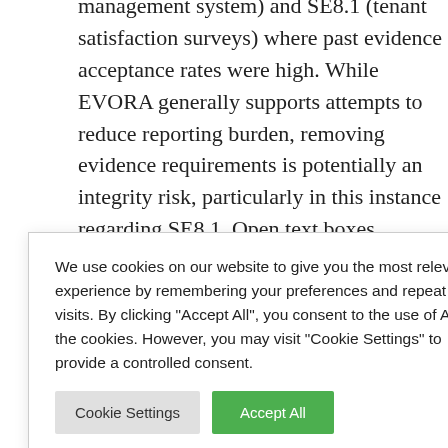management system) and SE8.1 (tenant satisfaction surveys) where past evidence acceptance rates were high. While EVORA generally supports attempts to reduce reporting burden, removing evidence requirements is potentially an integrity risk, particularly in this instance regarding SE8.1. Open text boxes removed from RO5/6/7 (implemented measures), PI1.2/2.2/3.2 (intensity calculations) and NC7.2 (net [obscured by cookie modal] s not [obscured] or the effort
[Figure (screenshot): Cookie consent modal overlay with text: 'We use cookies on our website to give you the most relevant experience by remembering your preferences and repeat visits. By clicking "Accept All", you consent to the use of ALL the cookies. However, you may visit "Cookie Settings" to provide a controlled consent.' Two buttons: 'Cookie Settings' (grey) and 'Accept All' (green).]
[obscured] orts [obscured] burden, [obscured] nts is
Despite the pursuit of consistency, GRESB is still